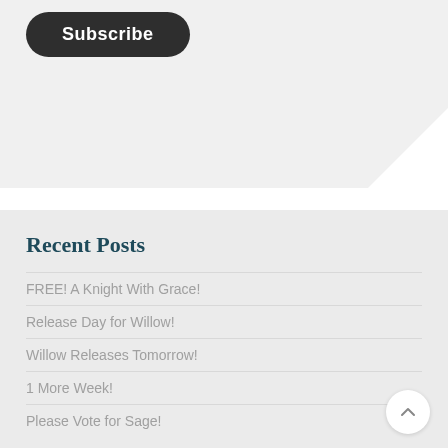[Figure (other): Subscribe button — dark rounded pill-shaped button with white text]
Recent Posts
FREE! A Knight With Grace!
Release Day for Willow!
Willow Releases Tomorrow!
1 More Week!
Please Vote for Sage!